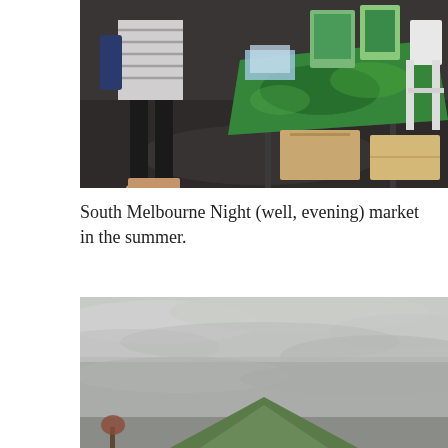[Figure (photo): A photo of a market stall scene with a person in a striped dress standing on a dark wet floor, and a table covered with a green patterned cloth displaying artworks and items, with a white folding chair visible on the right.]
South Melbourne Night (well, evening) market in the summer.
[Figure (photo): A photo of an overcast grey sky with clouds, and a green triangular tent or structure visible at the bottom of the frame.]